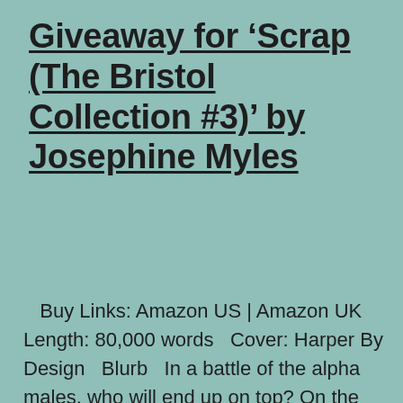Giveaway for ‘Scrap (The Bristol Collection #3)’ by Josephine Myles
Buy Links: Amazon US | Amazon UK Length: 80,000 words   Cover: Harper By Design   Blurb   In a battle of the alpha males, who will end up on top? On the surface, Derek “Call me Dare” Nelson’s life is simple. He’s happy doing up campervans while living in a slightly illegal… Continue reading